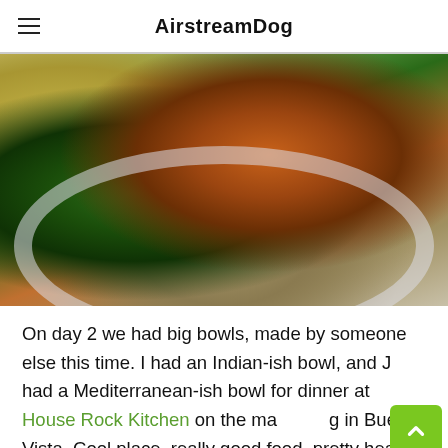AirstreamDog
[Figure (photo): A white bowl/plate filled with food: a mixed green salad with dark leafy greens and micro greens, brown rice, a piece of salmon or fish with reddish-orange sauce, and macaroni or pasta with cheese in the background. A fork is visible on the right side.]
On day 2 we had big bowls, made by someone else this time. I had an Indian-ish bowl, and J had a Mediterranean-ish bowl for dinner at House Rock Kitchen on the ma… in Buena Vista. Cool place, really good food, pretty healthy